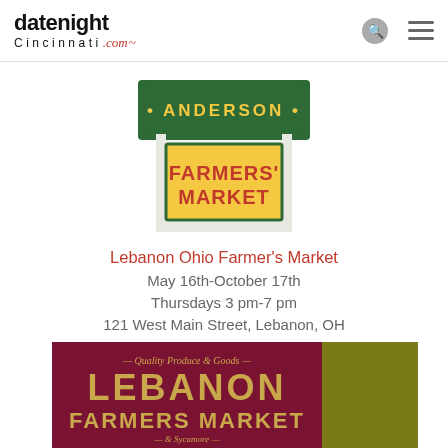datenightCincinnati.com
[Figure (logo): Anderson Farmers' Market logo — dark green sign with gold lettering on a white building façade shape]
Lebanon Ohio Farmer's Market
May 16th-October 17th
Thursdays 3 pm-7 pm
121 West Main Street, Lebanon, OH
[Figure (logo): Lebanon Farmers Market logo — dark red/maroon background with large gold text reading LEBANON FARMERS MARKET, smaller text Quality Produce & Goods and Sycamore]